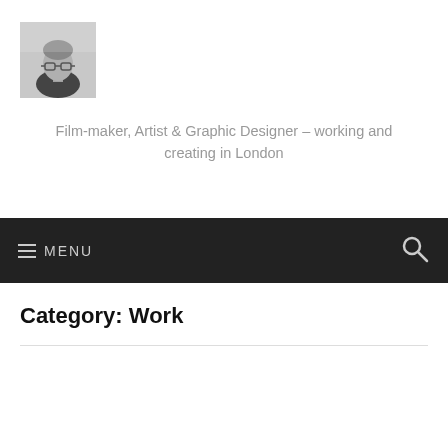[Figure (photo): Black and white headshot photo of a man wearing glasses]
Film-maker, Artist & Graphic Designer – working and creating in London
≡ MENU
Category: Work